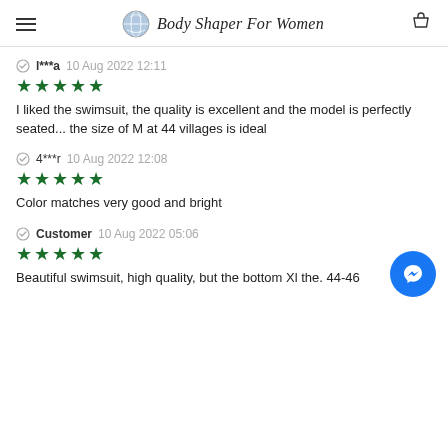Body Shaper For Women
l***a 10 Aug 2022 12:11 ★★★★★ I liked the swimsuit, the quality is excellent and the model is perfectly seated... the size of M at 44 villages is ideal
4***r 10 Aug 2022 12:08 ★★★★★ Color matches very good and bright
Customer 10 Aug 2022 05:06 ★★★★★ Beautiful swimsuit, high quality, but the bottom XL the. 44-46